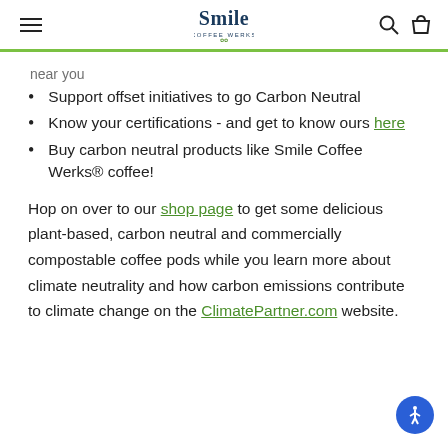Smile Coffee Werks
near you
Support offset initiatives to go Carbon Neutral
Know your certifications - and get to know ours here
Buy carbon neutral products like Smile Coffee Werks® coffee!
Hop on over to our shop page to get some delicious plant-based, carbon neutral and commercially compostable coffee pods while you learn more about climate neutrality and how carbon emissions contribute to climate change on the ClimatePartner.com website.